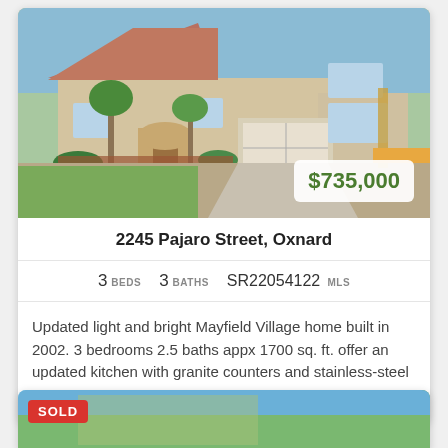[Figure (photo): Exterior photo of a two-story stucco home with driveway, palm trees, and landscaping]
2245 Pajaro Street, Oxnard
3 BEDS   3 BATHS   SR22054122 MLS
Updated light and bright Mayfield Village home built in 2002. 3 bedrooms 2.5 baths appx 1700 sq. ft. offer an updated kitchen with granite counters and stainless-steel ap...
[Figure (photo): Partial view of a second listing with SOLD badge overlay]